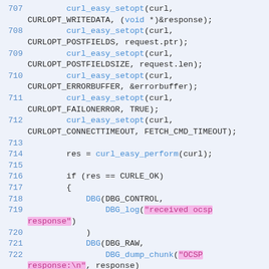[Figure (screenshot): Source code listing showing lines 707-723 of C code using libcurl API calls, with syntax highlighting in blue/pink on a light blue background.]